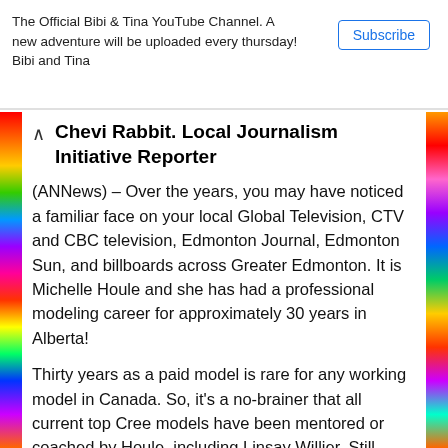The Official Bibi & Tina YouTube Channel. A new adventure will be uploaded every thursday! Bibi and Tina
Subscribe
Chevi Rabbit. Local Journalism Initiative Reporter
(ANNews) – Over the years, you may have noticed a familiar face on your local Global Television, CTV and CBC television, Edmonton Journal, Edmonton Sun, and billboards across Greater Edmonton. It is Michelle Houle and she has had a professional modeling career for approximately 30 years in Alberta!
Thirty years as a paid model is rare for any working model in Canada. So, it's a no-brainer that all current top Cree models have been mentored or coached by Houle, including Linsay Willier. Still, Houle's mentorship extends to